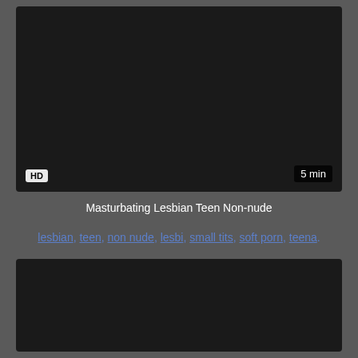[Figure (screenshot): Dark video thumbnail with HD badge bottom-left and '5 min' duration badge bottom-right]
Masturbating Lesbian Teen Non-nude
lesbian, teen, non nude, lesbi, small tits, soft porn, teena.
[Figure (screenshot): Dark video thumbnail, partially visible at bottom of page]